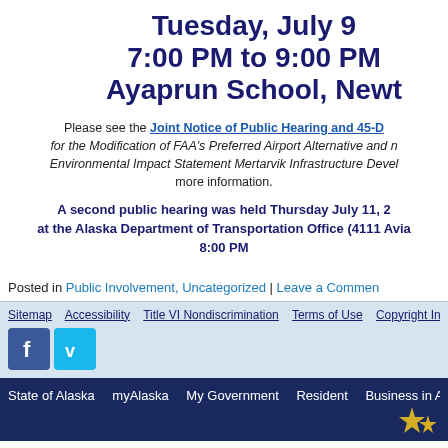Tuesday, July 9
7:00 PM to 9:00 PM
Ayaprun School, Newt
Please see the Joint Notice of Public Hearing and 45-D for the Modification of FAA's Preferred Airport Alternative and Environmental Impact Statement Mertarvik Infrastructure Devel more information.
A second public hearing was held Thursday July 11, 2 at the Alaska Department of Transportation Office (4111 Avia 8:00 PM
Posted in Public Involvement, Uncategorized | Leave a Comment
Sitemap  Accessibility  Title VI Nondiscrimination  Terms of Use  Copyright Info
State of Alaska  myAlaska  My Government  Resident  Business in Alaska  V